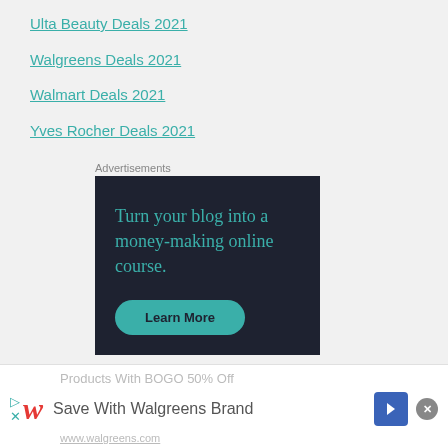Ulta Beauty Deals 2021
Walgreens Deals 2021
Walmart Deals 2021
Yves Rocher Deals 2021
Advertisements
[Figure (infographic): Dark advertisement banner: 'Turn your blog into a money-making online course.' with a Learn More button in teal on a dark navy background.]
infolinks
[Figure (infographic): Bottom advertisement bar showing Walgreens logo with text 'Products With BOGO 50% Off' and 'Save With Walgreens Brand' with navigation arrow and close button.]